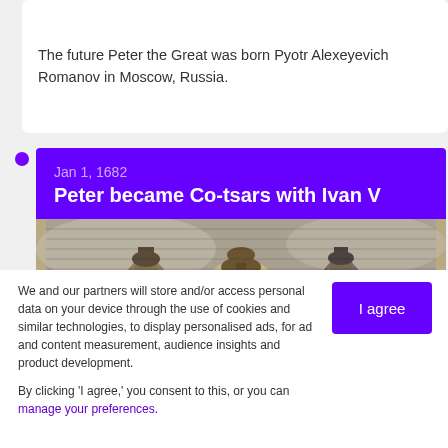The future Peter the Great was born Pyotr Alexeyevich Romanov in Moscow, Russia.
Jan 1, 1682
Peter became Co-tsars with Ivan V
[Figure (illustration): Historical engraving showing figures with a royal coat of arms, depicting the era of Peter the Great and Ivan V as co-tsars.]
We and our partners will store and/or access personal data on your device through the use of cookies and similar technologies, to display personalised ads, for ad and content measurement, audience insights and product development.

By clicking 'I agree,' you consent to this, or you can manage your preferences.